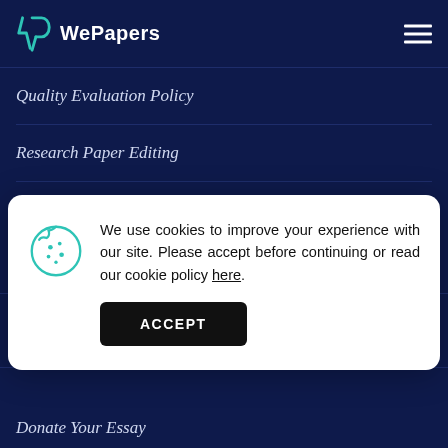WePapers
Quality Evaluation Policy
Research Paper Editing
Custom Essay Writings
We use cookies to improve your experience with our site. Please accept before continuing or read our cookie policy here.
Blog
Disclaimer
Donate Your Essay